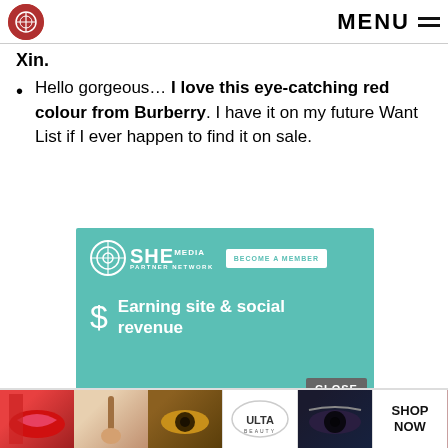MENU
Xin.
Hello gorgeous... I love this eye-catching red colour from Burberry. I have it on my future Want List if I ever happen to find it on sale.
[Figure (infographic): SHE Media Partner Network advertisement banner with teal background. Shows SHE Media logo, 'BECOME A MEMBER' button, dollar sign icon, and text 'Earning site & social revenue'.]
[Figure (infographic): Bottom advertisement strip showing beauty product images (lips, brush, eye), Ulta Beauty logo, smoky eye image, and SHOP NOW button. Includes a pink scroll-up arrow button.]